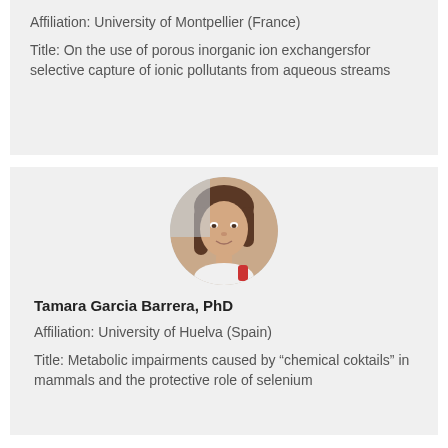Affiliation: University of Montpellier (France)
Title: On the use of porous inorganic ion exchangersfor selective capture of ionic pollutants from aqueous streams
[Figure (photo): Circular portrait photo of Tamara Garcia Barrera, PhD]
Tamara Garcia Barrera, PhD
Affiliation: University of Huelva (Spain)
Title: Metabolic impairments caused by “chemical coktails” in mammals and the protective role of selenium